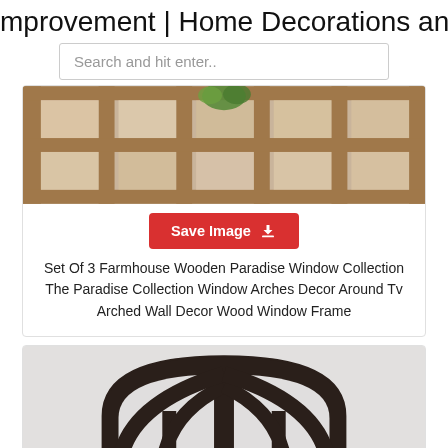mprovement | Home Decorations and
[Figure (screenshot): Search bar with placeholder text 'Search and hit enter..']
[Figure (photo): Photo of wooden window frame panels with grid pattern, distressed white/natural finish, with a small green plant visible at top]
[Figure (other): Red 'Save Image' button with download cloud icon]
Set Of 3 Farmhouse Wooden Paradise Window Collection The Paradise Collection Window Arches Decor Around Tv Arched Wall Decor Wood Window Frame
[Figure (photo): Photo of a dark brown/black arched window frame wall decor with cathedral arch design, semi-circular shape with divided panes, on a light gray background]